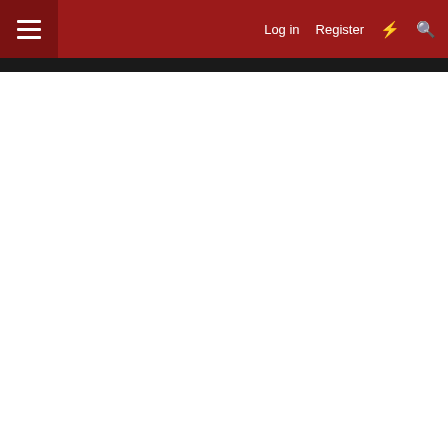Log in  Register
Parklands MX Website
Report Ad